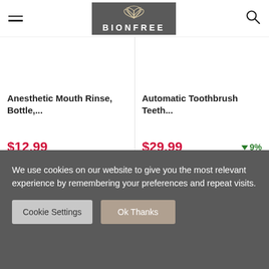BIONFREE
Anesthetic Mouth Rinse, Bottle,...
$12.99
Automatic Toothbrush Teeth...
$29.99 ↓ 9%
← 1 2 3 … 15 16 17 18 19 20 →
We use cookies on our website to give you the most relevant experience by remembering your preferences and repeat visits.
Cookie Settings
Ok Thanks